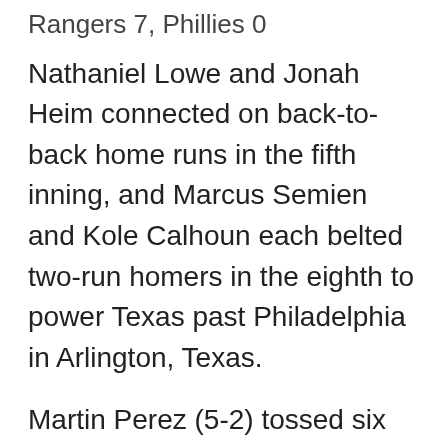Rangers 7, Phillies 0
Nathaniel Lowe and Jonah Heim connected on back-to-back home runs in the fifth inning, and Marcus Semien and Kole Calhoun each belted two-run homers in the eighth to power Texas past Philadelphia in Arlington, Texas.
Martin Perez (5-2) tossed six shutout innings and lowered his ERA from 2.10 to 1.96. Perez, Matt Bush, Dennis Santana and Brock Burke combined for Texas' fifth shutout.
The Phillies, 15-4 in June, have now lost successive games for the first time since